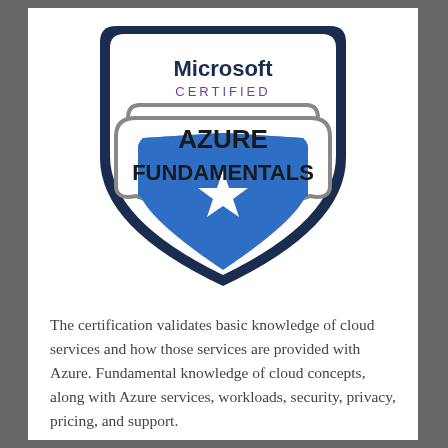[Figure (logo): Microsoft Certified Azure Fundamentals badge: a shield shape with dark navy border, containing 'Microsoft CERTIFIED' text at top, a white banner ribbon across the middle with 'AZURE FUNDAMENTALS' text in bold dark letters, and a blue lower shield section with a white star in the center.]
The certification validates basic knowledge of cloud services and how those services are provided with Azure. Fundamental knowledge of cloud concepts, along with Azure services, workloads, security, privacy, pricing, and support.